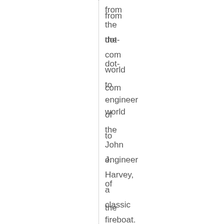from the dot-com world to engineer of the John J. Harvey, a classic fireboat. Jessica's compelling story is